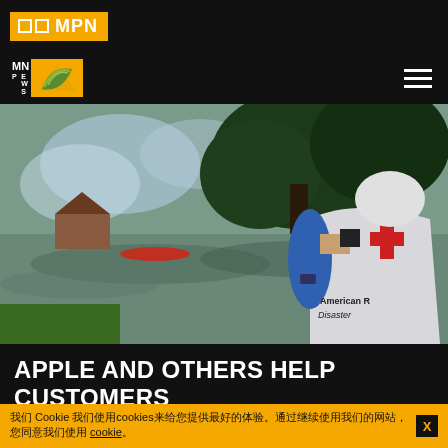MPN
[Figure (logo): MPN News logo with yellow/green leaf graphic on yellow background]
[Figure (photo): An American Red Cross Disaster relief worker in a white vest with red cross views a flooded neighborhood with houses and trees reflected in the floodwater, holding binoculars or a camera. A red canoe is visible in the water.]
APPLE AND OTHERS HELP CUSTOMERS DONATE TO THE RED CROSS, AND ONLY THE RED CROSS
我们 Cookie 使用cookies来给您提供最好的体验。通过继续使用我们的网站，您同意我们使用 cookie。